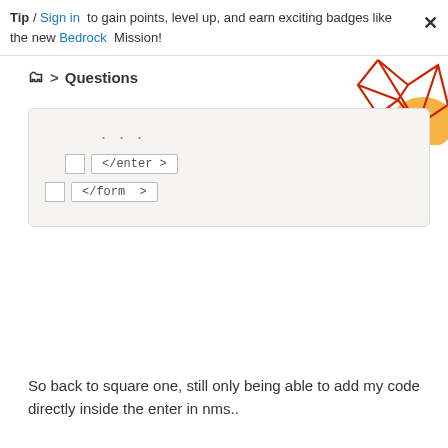Tip / Sign in to gain points, level up, and earn exciting badges like the new Bedrock Mission!
📁 > Questions
[Figure (screenshot): Decorative geometric illustration with red polygon lines and orange circle, top-right corner]
...
</enter >
</form >
So back to square one, still only being able to add my code directly inside the enter in nms..